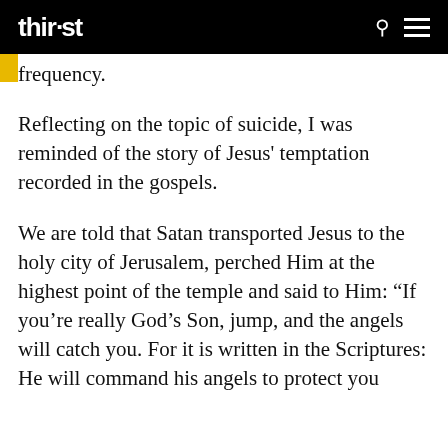thir·st
frequency.
Reflecting on the topic of suicide, I was reminded of the story of Jesus' temptation recorded in the gospels.
We are told that Satan transported Jesus to the holy city of Jerusalem, perched Him at the highest point of the temple and said to Him: “If you’re really God’s Son, jump, and the angels will catch you. For it is written in the Scriptures: He will command his angels to protect you